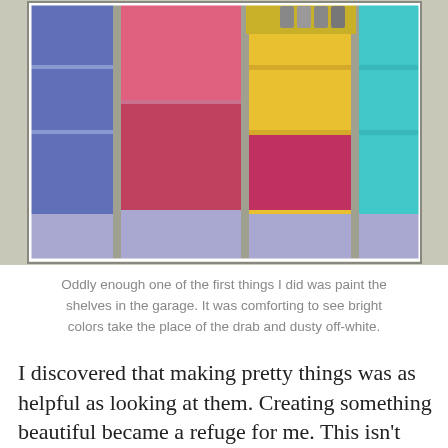[Figure (photo): Photograph of open shelving unit in a garage, painted in bright colors: left section is blue/purple, center-left is pink/red, center is yellow, center-right is dark pink/magenta, and right section is teal/cyan. The bottom of the unit is painted in a light purple/lavender. Some paint cans are visible on the top shelf.]
Oddly enough one of the first things I did was paint the shelves in the garage. It was comforting to see bright colors take the place of the drab and dusty off-white.
I discovered that making pretty things was as helpful as looking at them. Creating something beautiful became a refuge for me. This isn't